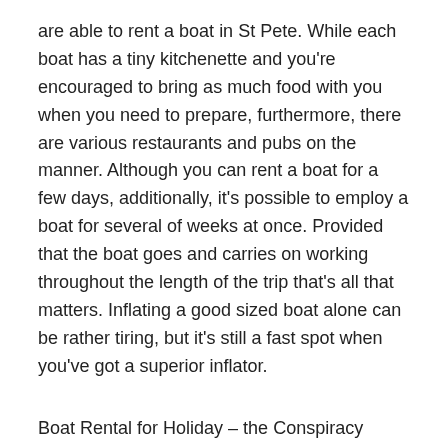are able to rent a boat in St Pete. While each boat has a tiny kitchenette and you're encouraged to bring as much food with you when you need to prepare, furthermore, there are various restaurants and pubs on the manner. Although you can rent a boat for a few days, additionally, it's possible to employ a boat for several of weeks at once. Provided that the boat goes and carries on working throughout the length of the trip that's all that matters. Inflating a good sized boat alone can be rather tiring, but it's still a fast spot when you've got a superior inflator.
Boat Rental for Holiday – the Conspiracy
The trailers can be found in the trailer park, a very brief walk from Lake Bruce. It is a good idea to rent out a trailer as and when you require this or purchase a cargo trailer once and for all so you don't need to constantly